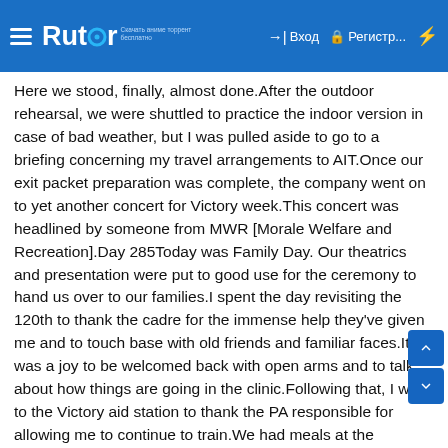Rutor | Вход | Регистр...
Here we stood, finally, almost done.After the outdoor rehearsal, we were shuttled to practice the indoor version in case of bad weather, but I was pulled aside to go to a briefing concerning my travel arrangements to AIT.Once our exit packet preparation was complete, the company went on to yet another concert for Victory week.This concert was headlined by someone from MWR [Morale Welfare and Recreation].Day 285Today was Family Day. Our theatrics and presentation were put to good use for the ceremony to hand us over to our families.I spent the day revisiting the 120th to thank the cadre for the immense help they've given me and to touch base with old friends and familiar faces.It was a joy to be welcomed back with open arms and to talk about how things are going in the clinic.Following that, I went to the Victory aid station to thank the PA responsible for allowing me to continue to train.We had meals at the Officer's Club for lunch and dinner, giving the end of the day a feeling of contentment but not exuberant joy.Day 286It's Graduation Day. We spent our time sweating in the sun and marching in uncomfortable plastic dress shoes that have shrunk since I wore them last.The ceremony proceeded as planned, and I made use